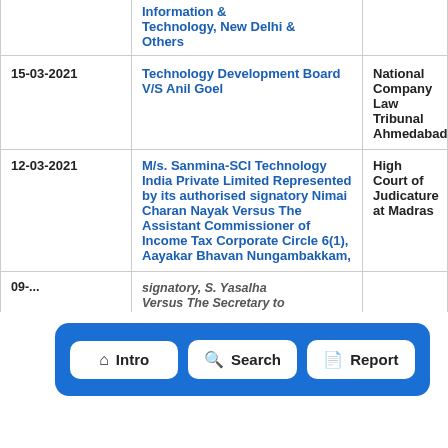| Date | Case | Court |
| --- | --- | --- |
|  | Information & Technology, New Delhi & Others |  |
| 15-03-2021 | Technology Development Board V/S Anil Goel | National Company Law Tribunal Ahmedabad |
| 12-03-2021 | M/s. Sanmina-SCI Technology India Private Limited Represented by its authorised signatory Nimai Charan Nayak Versus The Assistant Commissioner of Income Tax Corporate Circle 6(1), Aayakar Bhavan Nungambakkam, | High Court of Judicature at Madras |
| 09-... | ...signatory, S. Yasalha Versus The Secretary to |  |
[Figure (screenshot): Navigation bar overlay with three buttons: Home/Intro, Search, Report]